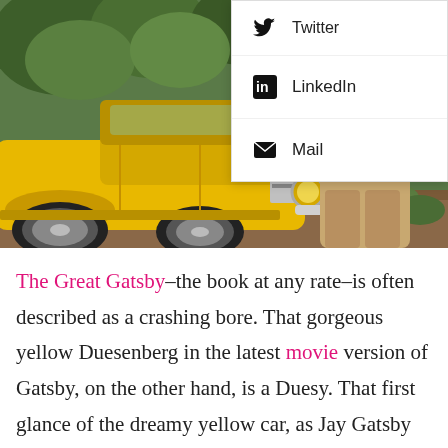[Figure (photo): A man in a tan suit and straw hat stands beside a vintage yellow Duesenberg automobile, with green trees in the background. A social share dropdown menu overlays the upper right, showing LinkedIn and Mail options.]
The Great Gatsby–the book at any rate–is often described as a crashing bore. That gorgeous yellow Duesenberg in the latest movie version of Gatsby, on the other hand, is a Duesy. That first glance of the dreamy yellow car, as Jay Gatsby pulls up to Nick Carraway's cottage, quite takes